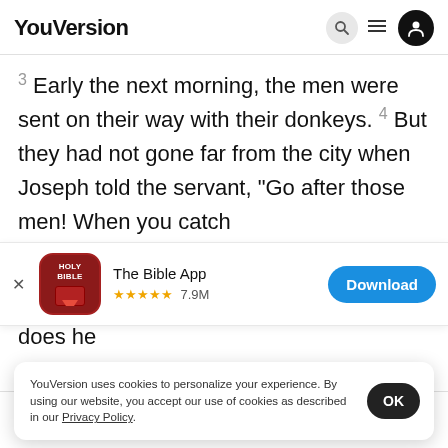YouVersion
3 Early the next morning, the men were sent on their way with their donkeys. 4 But they had not gone far from the city when Joseph told the servant, “Go after those men! When you catch
[Figure (screenshot): App store banner for The Bible App with red holy bible icon, 5 star rating 7.9M reviews, and blue Download button]
does he
learn al
YouVersion uses cookies to personalize your experience. By using our website, you accept our use of cookies as described in our Privacy Policy.
Home  Bible  Plans  Videos